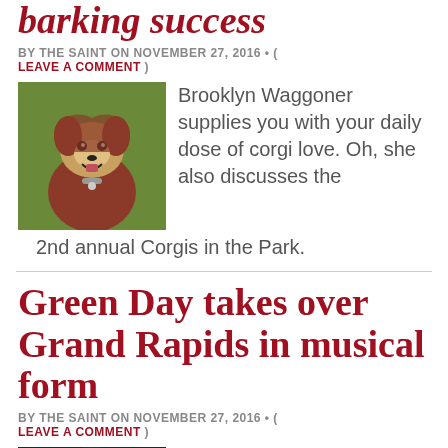barking success
BY THE SAINT ON NOVEMBER 27, 2016 • ( LEAVE A COMMENT )
[Figure (photo): A corgi dog wearing a red/brown hoodie, sitting on grass, looking at camera with mouth open]
Brooklyn Waggoner supplies you with your daily dose of corgi love. Oh, she also discusses the 2nd annual Corgis in the Park.
Green Day takes over Grand Rapids in musical form
BY THE SAINT ON NOVEMBER 27, 2016 • ( LEAVE A COMMENT )
[Figure (photo): A person wearing glasses in a dimly lit setting, partially visible]
Reporter explains how you can